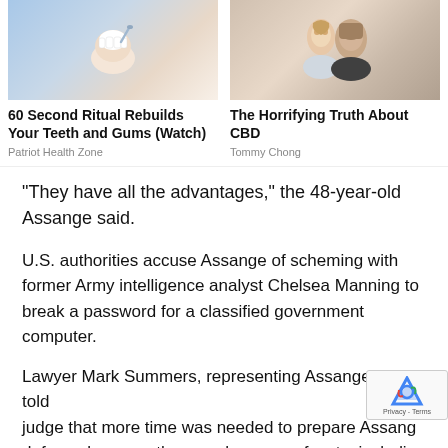[Figure (photo): Dental procedure photo - person with dental tools near teeth]
60 Second Ritual Rebuilds Your Teeth and Gums (Watch)
Patriot Health Zone
[Figure (photo): Couple photo - man and woman smiling]
The Horrifying Truth About CBD
Tommy Chong
“They have all the advantages,” the 48-year-old Assange said.
U.S. authorities accuse Assange of scheming with former Army intelligence analyst Chelsea Manning to break a password for a classified government computer.
Lawyer Mark Summers, representing Assange, told judge that more time was needed to prepare Assange defense because the case has many facets, including the